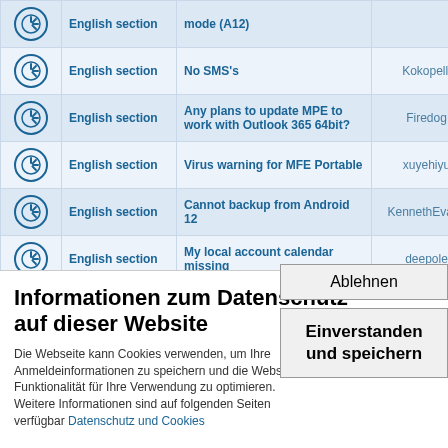|  | Section | Topic | Author | # |
| --- | --- | --- | --- | --- |
| [icon] | English section | mode (A12) |  | 0 |
| [icon] | English section | No SMS's | Kokopelli | 0 |
| [icon] | English section | Any plans to update MPE to work with Outlook 365 64bit? | Firedog | 0 |
| [icon] | English section | Virus warning for MFE Portable | xuyehiyu | 0 |
| [icon] | English section | Cannot backup from Android 12 | KennethEvans | 0 |
| [icon] | English section | My local account calendar missing | deepole | 0 |
| [icon] | English section | SMS Scheduler does strange things | GeorgeR | 0 |
Informationen zum Datenschutz
auf dieser Website
Die Webseite kann Cookies verwenden, um Ihre Anmeldeinformationen zu speichern und die Website-Funktionalität für Ihre Verwendung zu optimieren. Weitere Informationen sind auf folgenden Seiten verfügbar Datenschutz und Cookies